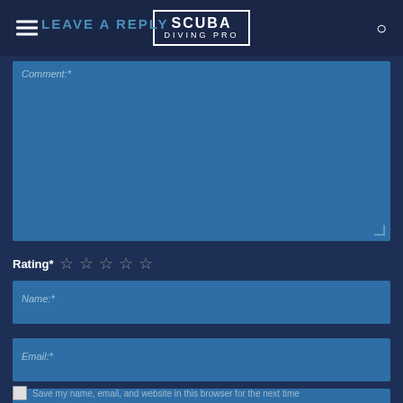SCUBA DIVING PRO
LEAVE A REPLY
Comment:*
Rating* ☆ ☆ ☆ ☆ ☆
Name:*
Email:*
Website:
Save my name, email, and website in this browser for the next time